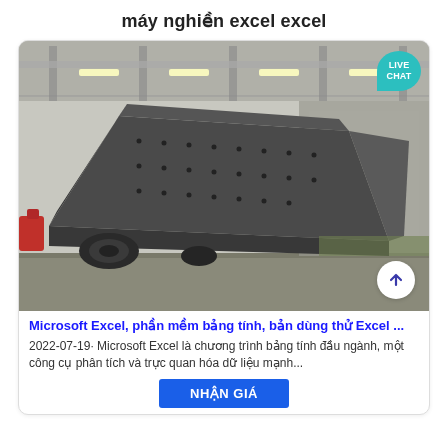máy nghiền excel excel
[Figure (photo): Photo of a large industrial vibrating screen/crusher machine (máy nghiền) in a factory/warehouse setting. The machine is a dark gray angular metal structure with bolted panels, sitting on the factory floor. In the top-right corner there is a teal 'LIVE CHAT' speech bubble badge. In the lower-right of the image there is a white circular up-arrow button.]
Microsoft Excel, phần mềm bảng tính, bản dùng thử Excel ...
2022-07-19· Microsoft Excel là chương trình bảng tính đầu ngành, một công cụ phân tích và trực quan hóa dữ liệu mạnh...
NHẬN GIÁ